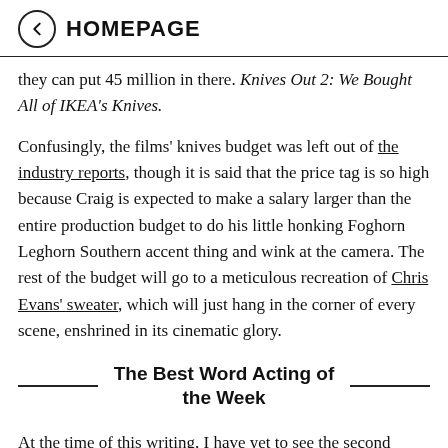HOMEPAGE
they can put 45 million in there. Knives Out 2: We Bought All of IKEA's Knives.
Confusingly, the films' knives budget was left out of the industry reports, though it is said that the price tag is so high because Craig is expected to make a salary larger than the entire production budget to do his little honking Foghorn Leghorn Southern accent thing and wink at the camera. The rest of the budget will go to a meticulous recreation of Chris Evans' sweater, which will just hang in the corner of every scene, enshrined in its cinematic glory.
The Best Word Acting of the Week
At the time of this writing, I have yet to see the second...